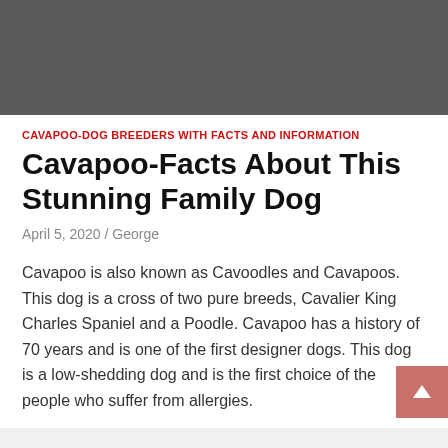[Figure (other): Gray banner/header image placeholder at the top of the page]
CAVAPOO-DOG BREEDERS WITH FACTS AND INFORMATION
Cavapoo-Facts About This Stunning Family Dog
April 5, 2020 / George
Cavapoo is also known as Cavoodles and Cavapoos. This dog is a cross of two pure breeds, Cavalier King Charles Spaniel and a Poodle. Cavapoo has a history of 70 years and is one of the first designer dogs. This dog is a low-shedding dog and is the first choice of the people who suffer from allergies.